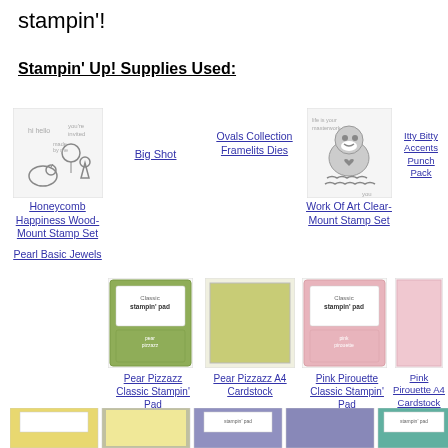stampin'!
Stampin' Up! Supplies Used:
[Figure (illustration): Honeycomb Happiness Wood-Mount Stamp Set product image showing bird, balloon, and ice cream stamp designs]
Honeycomb Happiness Wood-Mount Stamp Set
[Figure (illustration): Big Shot product image (no image shown, just link)]
Big Shot
[Figure (illustration): Ovals Collection Framelits Dies product image (no image shown, just link)]
Ovals Collection Framelits Dies
[Figure (illustration): Work Of Art Clear-Mount Stamp Set product image showing animal and handwriting designs]
Work Of Art Clear-Mount Stamp Set
[Figure (illustration): Itty Bitty Accents Punch Pack product image (no image shown, just link)]
Itty Bitty Accents Punch Pack
Pearl Basic Jewels
[Figure (illustration): Pear Pizzazz Classic Stampin Pad green ink pad product image]
Pear Pizzazz Classic Stampin' Pad
[Figure (illustration): Pear Pizzazz A4 Cardstock yellow-green cardstock product image]
Pear Pizzazz A4 Cardstock
[Figure (illustration): Pink Pirouette Classic Stampin Pad pink ink pad product image]
Pink Pirouette Classic Stampin' Pad
[Figure (illustration): Pink Pirouette A4 Cardstock light pink cardstock product image]
Pink Pirouette A4 Cardstock
[Figure (illustration): Bottom row: yellow ink pad, yellow cardstock, purple ink pad, purple cardstock, teal ink pad]
Bottom row product images